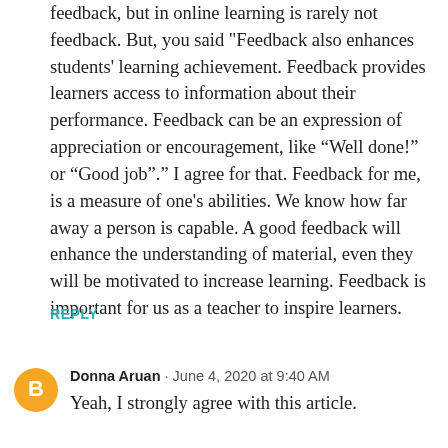feedback, but in online learning is rarely not feedback. But, you said "Feedback also enhances students' learning achievement. Feedback provides learners access to information about their performance. Feedback can be an expression of appreciation or encouragement, like “Well done!” or “Good job”.” I agree for that. Feedback for me, is a measure of one's abilities. We know how far away a person is capable. A good feedback will enhance the understanding of material, even they will be motivated to increase learning. Feedback is important for us as a teacher to inspire learners.
REPLY
Donna Aruan · June 4, 2020 at 9:40 AM
Yeah, I strongly agree with this article.